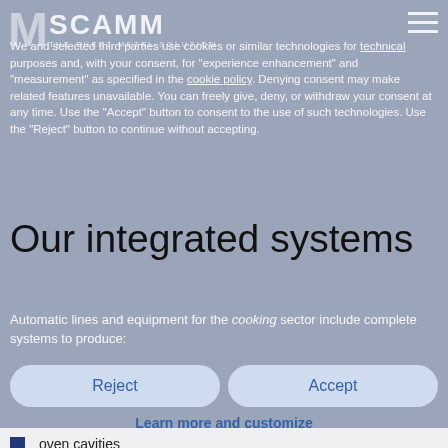M SCAMM THE SHEET METAL SOLUTION
We and selected third parties use cookies or similar technologies for technical purposes and, with your consent, for "experience enhancement" and "measurement" as specified in the cookie policy. Denying consent may make related features unavailable. You can freely give, deny, or withdraw your consent at any time. Use the "Accept" button to consent to the use of such technologies. Use the "Reject" button to continue without accepting.
Our integrated systems
Automatic lines and equipment for the cooking sector include complete systems to produce:
oven cavities
side panels, outer shells, and oven components
cooktops
hoods
SCAMM systems produce oven cavities which are the market's state-of-the-art and derive from the technological innovation driven by customer needs. A continuous production process improvement includes the initial